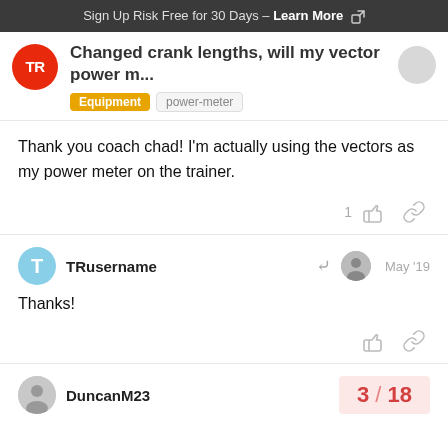Sign Up Risk Free for 30 Days - Learn More
Changed crank lengths, will my vector power m...
Equipment  power-meter
Thank you coach chad! I'm actually using the vectors as my power meter on the trainer.
1
TRusername   May '19
Thanks!
DuncanM23   3 / 18